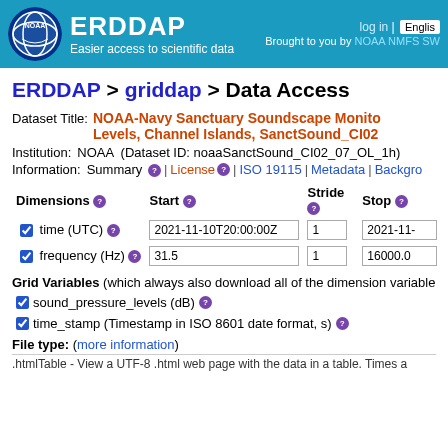ERDDAP — Easier access to scientific data | log in | English | Brought to you by NOAA NMFS SW
ERDDAP > griddap > Data Access
Dataset Title: NOAA-Navy Sanctuary Soundscape Monitoring Project Sound Pressure Levels, Channel Islands, SanctSound_CI02
Institution: NOAA  (Dataset ID: noaaSanctSound_CI02_07_OL_1h)
Information: Summary | License | ISO 19115 | Metadata | Background
| Dimensions | Start | Stride | Stop |
| --- | --- | --- | --- |
| time (UTC) | 2021-11-10T20:00:00Z | 1 | 2021-11- |
| frequency (Hz) | 31.5 | 1 | 16000.0 |
Grid Variables (which always also download all of the dimension variables)
sound_pressure_levels (dB)
time_stamp (Timestamp in ISO 8601 date format, s)
File type: (more information)
.htmlTable - View a UTF-8 .html web page with the data in a table. Times a